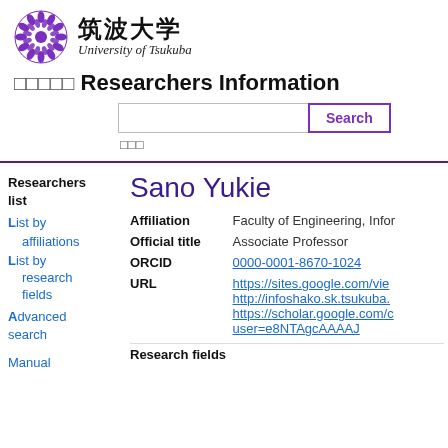[Figure (logo): University of Tsukuba logo with purple chrysanthemum crest and Japanese/English name]
□□□□□ Researchers Information
Search button and search input field
□□□
Researchers list
List by affiliations
List by research fields
Advanced search
Manual
Sano Yukie
| Field | Value |
| --- | --- |
| Affiliation | Faculty of Engineering, Infor... |
| Official title | Associate Professor |
| ORCID | 0000-0001-8670-1024 |
| URL | https://sites.google.com/vie...
http://infoshako.sk.tsukuba....
https://scholar.google.com/c...
user=e8NTAgcAAAAJ |
Research fields